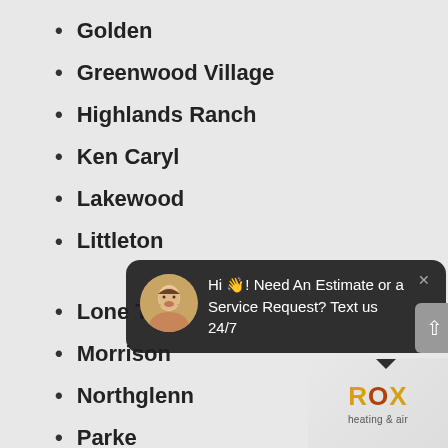Golden
Greenwood Village
Highlands Ranch
Ken Caryl
Lakewood
Littleton
Lone Tree
Morrison
Northglenn
Parker
Thornton
Westminster
Wheatridge
[Figure (screenshot): Chat popup overlay with avatar photo of smiling woman, dark background, text: Hi 👋! Need An Estimate or a Service Request? Text us 24/7, with X close button]
[Figure (logo): Rox Heating & Air logo in bottom right corner]